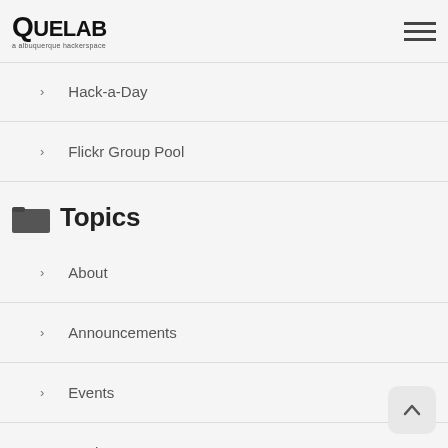Quelab
Room
Hacker Scouts
Hack-a-Day
Flickr Group Pool
Topics
About
Announcements
Events
Hackerspace News
Hacknight
Ideas
Links
Meetings
Member Events
Newsletter
Projects